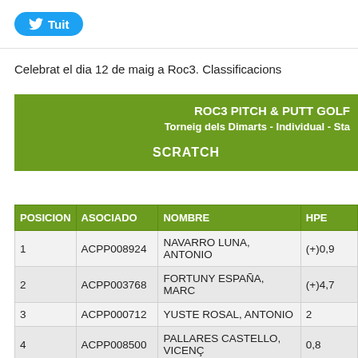Tuit
Celebrat el dia 12 de maig a Roc3. Classificacions
| POSICION | ASOCIADO | NOMBRE | HPE |
| --- | --- | --- | --- |
| 1 | ACPP008924 | NAVARRO LUNA, ANTONIO | (+)0,9 |
| 2 | ACPP003768 | FORTUNY ESPAÑA, MARC | (+)4,7 |
| 3 | ACPP000712 | YUSTE ROSAL, ANTONIO | 2 |
| 4 | ACPP008500 | PALLARES CASTELLO, VICENÇ | 0,8 |
| 5 | ACPP006280 | GRIFE GUIU, LUIS | (+)2,4 |
| 6 | ACPP005458 | AREVALO GARCIA, FRANCISCO | (+)2,4 |
| 7 | ACPP006995 | LOPEZ CALONGE, ADAN | (+)0,0 |